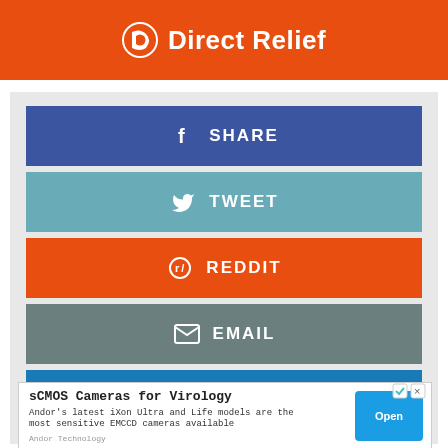[Figure (logo): Direct Relief orange banner with white logo and text 'Direct Relief']
[Figure (infographic): Social share buttons: Facebook SHARE (blue), Twitter TWEET (light blue), Reddit REDDIT (orange), Email EMAIL (gray), LinkedIn SHARE (dark blue)]
[Figure (screenshot): Advertisement: 'sCMOS Cameras for Virology' - Andor's latest iXon Ultra and Life models are the most sensitive EMCCD cameras available. Andor Technology. Open button.]